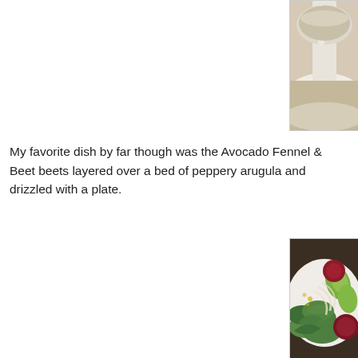[Figure (photo): Top portion of a drink in a glass on a white plate, partially cropped at top-right of page]
My favorite dish by far though was the Avocado Fennel & Beet beets layered over a bed of peppery arugula and drizzled with a plate.
[Figure (photo): Close-up photo of Avocado Fennel & Beet salad on a white plate, showing arugula leaves, sliced beets, avocado, and fennel with dressing drizzle]